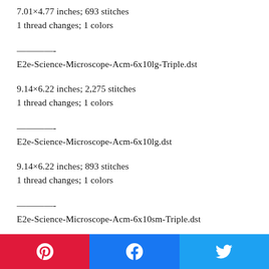7.01×4.77 inches; 693 stitches
1 thread changes; 1 colors
————-
E2e-Science-Microscope-Acm-6x10lg-Triple.dst
9.14×6.22 inches; 2,275 stitches
1 thread changes; 1 colors
————-
E2e-Science-Microscope-Acm-6x10lg.dst
9.14×6.22 inches; 893 stitches
1 thread changes; 1 colors
————-
E2e-Science-Microscope-Acm-6x10sm-Triple.dst
7.09×5.42 inches; 1,091 stitches